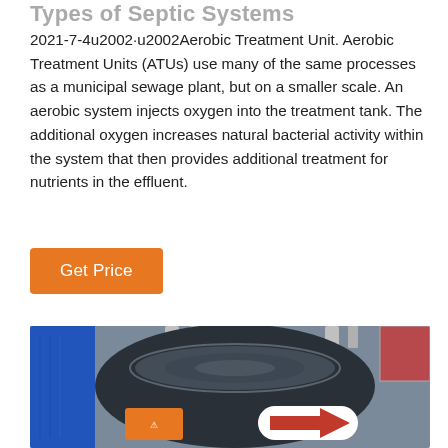Types of Septic Systems
2021-7-4u2002·u2002Aerobic Treatment Unit. Aerobic Treatment Units (ATUs) use many of the same processes as a municipal sewage plant, but on a smaller scale. An aerobic system injects oxygen into the treatment tank. The additional oxygen increases natural bacterial activity within the system that then provides additional treatment for nutrients in the effluent.
Get Price
[Figure (photo): Photo of an aerobic treatment unit (ATU) — a dark cylindrical tank with metal fittings on top, pipes, an orange warning label, and a red arrow sticker. Blue background panels visible on the left and right sides.]